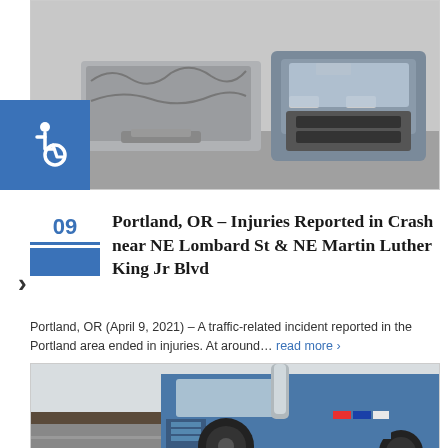[Figure (photo): Photo of a car crash scene showing crumpled vehicle front end and a Mitsubishi SUV with minor front damage]
Portland, OR – Injuries Reported in Crash near NE Lombard St & NE Martin Luther King Jr Blvd
Portland, OR (April 9, 2021) – A traffic-related incident reported in the Portland area ended in injuries. At around… read more ›
[Figure (photo): Photo of a blue semi-truck / 18-wheeler driving on a highway, close-up of the cab and wheels]